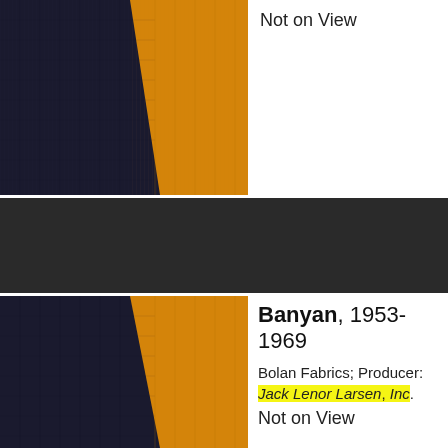[Figure (photo): Fabric swatch showing dark navy/charcoal and golden yellow vertical stripes with textured weave]
Not on View
[Figure (photo): Dark separator band]
[Figure (photo): Fabric swatch showing dark navy/charcoal and golden yellow vertical stripes with textured weave]
Banyan, 1953-1969
Bolan Fabrics; Producer: Jack Lenor Larsen, Inc.
Not on View